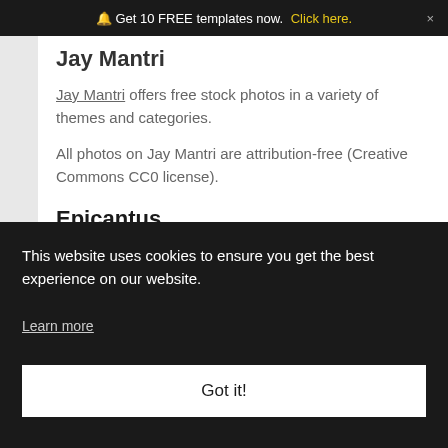🔔 Get 10 FREE templates now. Click here. ×
Jay Mantri
Jay Mantri offers free stock photos in a variety of themes and categories.
All photos on Jay Mantri are attribution-free (Creative Commons CC0 license).
Epicantus
Epicantus provides free original photos by...
This website uses cookies to ensure you get the best experience on our website.
Learn more
Got it!
Life of Pix